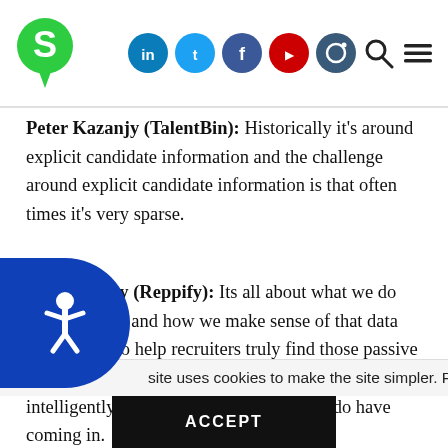S [logo] | LinkedIn | Twitter | Facebook | YouTube | Instagram | Search | Menu
Peter Kazanjy (TalentBin): Historically it's around explicit candidate information and the challenge around explicit candidate information is that often times it's very sparse.
Marc Watley (Reppify): Its all about what we do with that data and how we make sense of that data that's going to help recruiters truly find those passive candidates they're looking for and also to intelligently evaluate the candidates they do have coming in.
This site uses cookies to make the site simpler. Read More Cookie settings ACCEPT
Sabrina Urrutia (Ren... Well I definitely learned that there's great work out there. Filling out